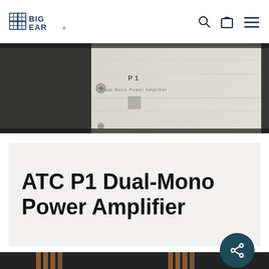Big Ear
[Figure (photo): Top-down close-up of the ATC P1 Dual-Mono Power Amplifier front panel, silver brushed aluminum with logo and model label]
ATC P1 Dual-Mono Power Amplifier
[Figure (photo): Close-up of ATC P1 amplifier showing dark chassis with copper-colored heatsink fins]